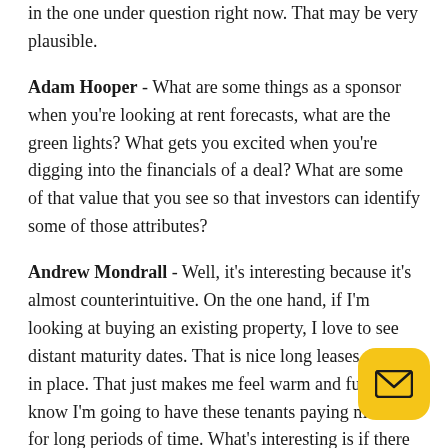in the one under question right now. That may be very plausible.
Adam Hooper - What are some things as a sponsor when you're looking at rent forecasts, what are the green lights? What gets you excited when you're digging into the financials of a deal? What are some of that value that you see so that investors can identify some of those attributes?
Andrew Mondrall - Well, it's interesting because it's almost counterintuitive. On the one hand, if I'm looking at buying an existing property, I love to see distant maturity dates. That is nice long leases that are in place. That just makes me feel warm and fuzzy. I know I'm going to have these tenants paying me rent for long periods of time. What's interesting is if there is some vacancy or if there are some tenants that are going to expire in a fairly short term and they don't have any renewal options beyond